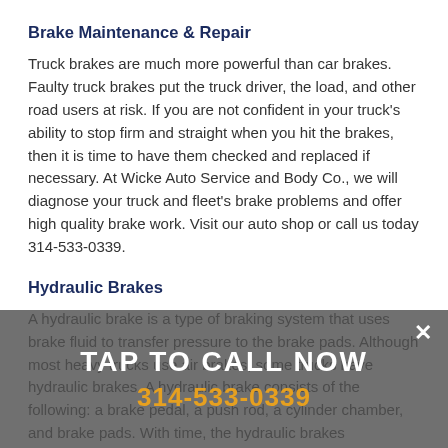Brake Maintenance & Repair
Truck brakes are much more powerful than car brakes. Faulty truck brakes put the truck driver, the load, and other road users at risk. If you are not confident in your truck's ability to stop firm and straight when you hit the brakes, then it is time to have them checked and replaced if necessary. At Wicke Auto Service and Body Co., we will diagnose your truck and fleet's brake problems and offer high quality brake work. Visit our auto shop or call us today 314-533-0339.
Hydraulic Brakes
A hydraulic brake is a type of braking system that uses brake fluid to transfer pressure to the brake pads. Although most heavy trucks use air brakes, some trucks have hydraulic brakes. A hydraulic brake consists of the following: a brake pedal, a push rod, a cylinder chamber, and brake pads. With time, the hydraulic brakes components wear out and thus need
TAP TO CALL NOW
314-533-0339